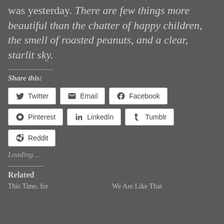was yesterday. There are few things more beautiful than the chatter of happy children, the smell of roasted peanuts, and a clear, starlit sky.
Share this:
Twitter Email Facebook Pinterest LinkedIn Tumblr Reddit
Loading...
Related
This Time, for   We Are Like That